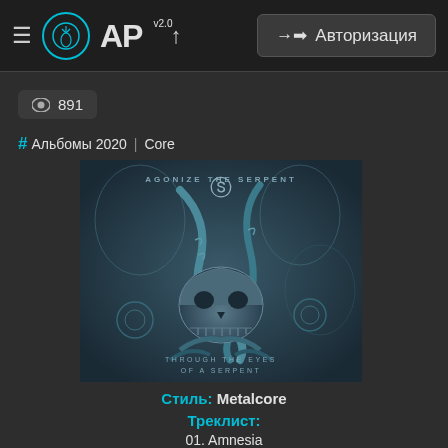≡ AP v2.0 ↑  → Авторизация
👁 891
# Альбомы 2020 | Core
[Figure (illustration): Album cover for 'Through the Eyes of a Serpent' by Agonize the Serpent. Dark teal/blue toned artwork featuring a skull entwined by a serpent with floral and tentacle elements, gothic metal aesthetic. Text reads AGONIZE THE SERPENT at top and THROUGH THE EYES OF A SERPENT at bottom.]
Стиль: Metalcore
Треклист:
01. Amnesia